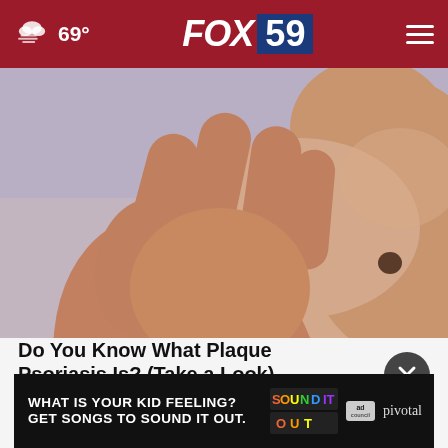69° FOX 59
[Figure (photo): Close-up photo of a hand scratching or touching skin with a mole/dark spot visible on the back/shoulder area, lavender-tinted background]
Do You Know What Plaque Psoriasis Is? (Take a Look)
Smart
[Figure (infographic): Advertisement banner: 'WHAT IS YOUR KID FEELING? GET SONGS TO SOUND IT OUT.' with Sound It Out logo, Ad Council logo, and Pivotal branding on black background]